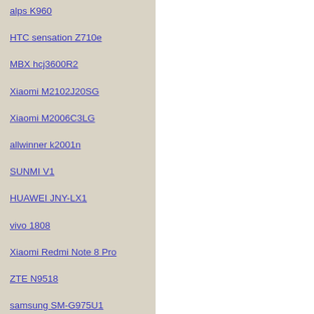alps K960
HTC sensation Z710e
MBX hcj3600R2
Xiaomi M2102J20SG
Xiaomi M2006C3LG
allwinner k2001n
SUNMI V1
HUAWEI JNY-LX1
vivo 1808
Xiaomi Redmi Note 8 Pro
ZTE N9518
samsung SM-G975U1